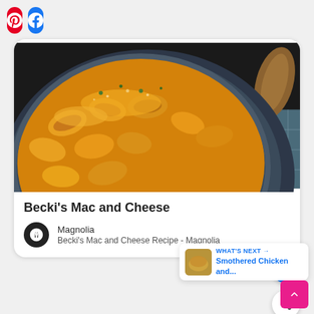[Figure (other): Pinterest share button (red rounded rectangle with Pinterest logo)]
[Figure (other): Facebook share button (blue rounded rectangle with Facebook logo)]
[Figure (photo): Photo of mac and cheese in a dark pan on a blue checkered cloth with a wooden spoon]
Becki's Mac and Cheese
Magnolia
Becki's Mac and Cheese Recipe - Magnolia
[Figure (other): Blue circular heart/favorite button]
[Figure (other): White circular share button]
WHAT'S NEXT → Smothered Chicken and...
[Figure (other): Pink back-to-top button with upward arrow]